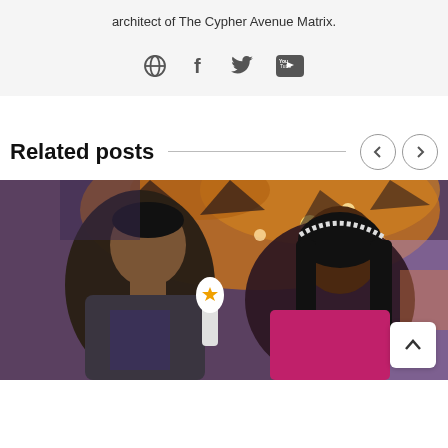architect of The Cypher Avenue Matrix.
[Figure (infographic): Social media icons: globe, Facebook, Twitter, YouTube]
Related posts
[Figure (photo): A man and a woman at an event venue; the woman is holding a microphone with a star logo and wearing a headband.]